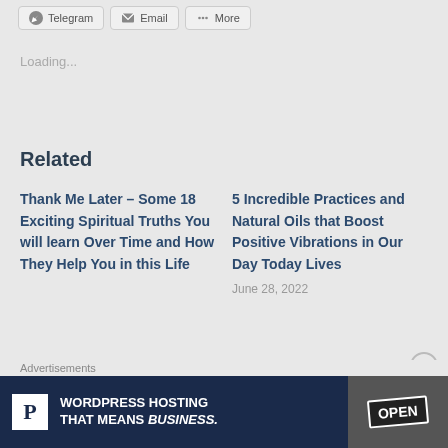Telegram  Email  More
Loading...
Related
Thank Me Later – Some 18 Exciting Spiritual Truths You will learn Over Time and How They Help You in this Life
5 Incredible Practices and Natural Oils that Boost Positive Vibrations in Our Day Today Lives
June 28, 2022
Advertisements
[Figure (screenshot): Advertisement banner: WordPress Hosting That Means BUSINESS. with P logo on dark blue background and OPEN sign photo on right.]